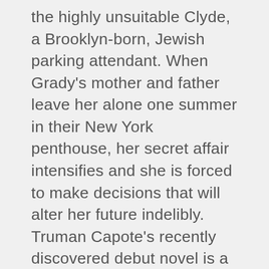the highly unsuitable Clyde, a Brooklyn-born, Jewish parking attendant. When Grady's mother and father leave her alone one summer in their New York penthouse, her secret affair intensifies and she is forced to make decisions that will alter her future indelibly. Truman Capote's recently discovered debut novel is a captivating portrayal of first love. Truman Capote was born in New Orleans in 1924 and was raised in various parts of the south, his family spending winters in New Orleans and summers in Alabama and New Georgia. By the age of fourteen he had already started writing short stories, some of which were published. He left school when he was fifteen and subsequently worked for the New Yorker which provided his first - and last - regular job. Following his spell with the